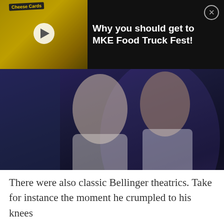[Figure (screenshot): Video thumbnail of food truck with cheese cards signage, yellow food truck with play button overlay]
Why you should get to MKE Food Truck Fest!
[Figure (photo): Concert promotional poster for 'Can't Stop Us Now Summer Tour 2022' featuring two performers - a blonde woman and a bald man in a suit, with Iggy Azalea as special guest]
There were also classic Bellinger theatrics. Take for instance the moment he crumpled to his knees